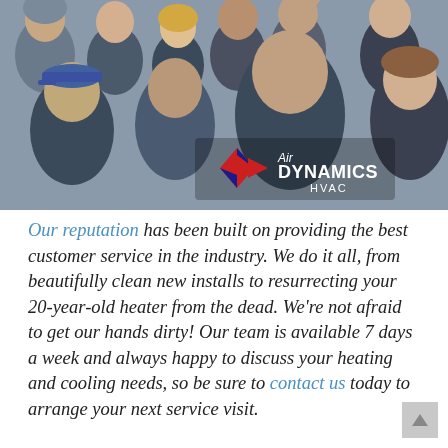[Figure (photo): Group photo of Air Dynamics HVAC team members, approximately 10 people, with company logo overlaid in lower center of image showing a diamond/arrow logo with 'Air DYNAMICS HVAC' text]
Our reputation has been built on providing the best customer service in the industry. We do it all, from beautifully clean new installs to resurrecting your 20-year-old heater from the dead. We're not afraid to get our hands dirty! Our team is available 7 days a week and always happy to discuss your heating and cooling needs, so be sure to contact us today to arrange your next service visit.